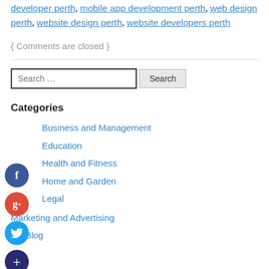developer perth, mobile app development perth, web design perth, website design perth, website developers perth
{ Comments are closed }
Search …
Categories
Business and Management
Education
Health and Fitness
Home and Garden
Legal
Marketing and Advertising
My Blog